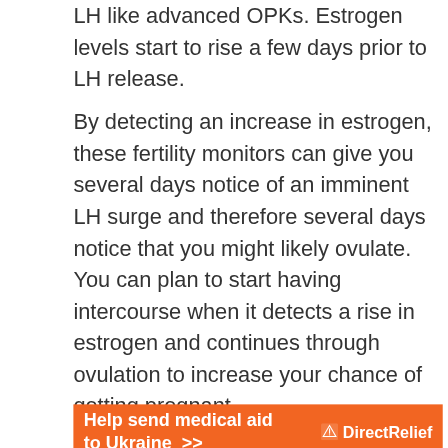LH like advanced OPKs. Estrogen levels start to rise a few days prior to LH release.
By detecting an increase in estrogen, these fertility monitors can give you several days notice of an imminent LH surge and therefore several days notice that you might likely ovulate. You can plan to start having intercourse when it detects a rise in estrogen and continues through ovulation to increase your chance of getting pregnant.
[Figure (infographic): Orange advertisement banner reading 'Help send medical aid to Ukraine >>' with Direct Relief logo on the right.]